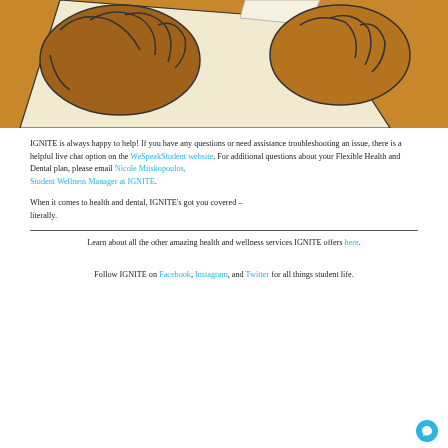[Figure (illustration): Close-up illustration of brown-skinned hands holding or handling a white document/paper, in a cartoon/flat illustration style with brown and cream colors.]
IGNITE is always happy to help! If you have any questions or need assistance troubleshooting an issue, there is a helpful live chat option on the WeSpeakStudent website. For additional questions about your Flexible Health and Dental plan, please email Nicole Mitskopoulos, Student Wellness Manager at IGNITE.
When it comes to health and dental, IGNITE's got you covered – literally.
Learn about all the other amazing health and wellness services IGNITE offers here.
Follow IGNITE on Facebook, Instagram, and Twitter for all things student life.